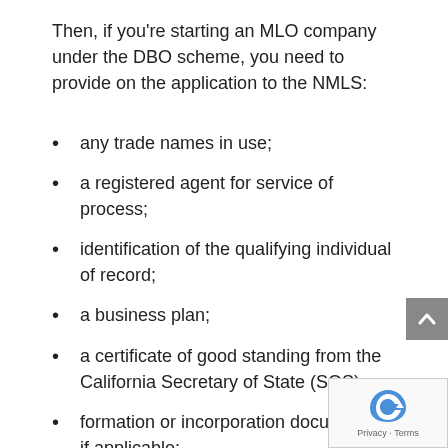Then, if you're starting an MLO company under the DBO scheme, you need to provide on the application to the NMLS:
any trade names in use;
a registered agent for service of process;
identification of the qualifying individual of record;
a business plan;
a certificate of good standing from the California Secretary of State (SOS);
formation or incorporation documents, if applicable;
a management chart, including a statement that all members, directors